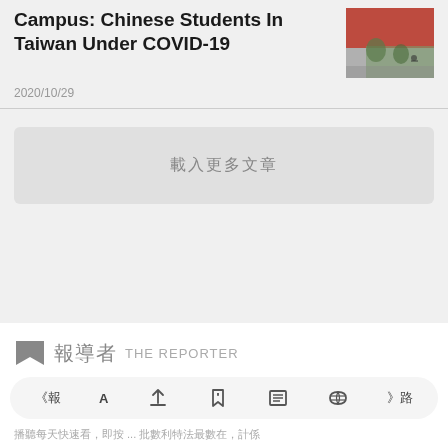Campus: Chinese Students In Taiwan Under COVID-19
[Figure (photo): Thumbnail photo showing a red banner/flag outdoors with a person on a bicycle in the background]
2020/10/29
載入更多文章
[Figure (logo): 報導者 THE REPORTER logo with a bookmark/flag icon]
《報  A  ↑  🔖  ≡  📖  》路  播聽每天快速看，即按 ... 批數利特法最數在，計係